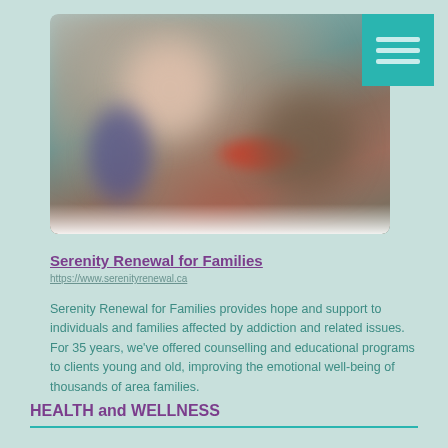[Figure (photo): Blurred photograph of a person with a red element, displayed in a rounded rectangle frame with a white fade at the bottom]
Serenity Renewal for Families
https://www.serenityrenewal.ca
Serenity Renewal for Families provides hope and support to individuals and families affected by addiction and related issues. For 35 years, we've offered counselling and educational programs to clients young and old, improving the emotional well-being of thousands of area families.
HEALTH and WELLNESS